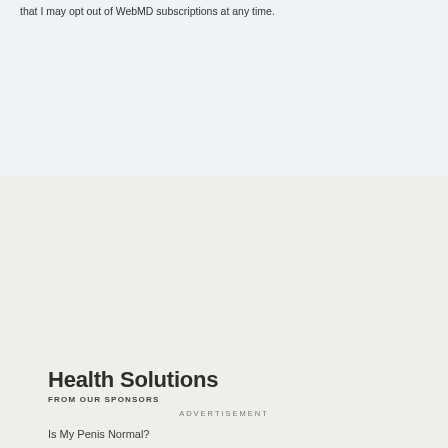that I may opt out of WebMD subscriptions at any time.
Health Solutions
FROM OUR SPONSORS
Is My Penis Normal?
Exercise & COPD
Vaginal Health
Lung Cancer Treatment
Discover hATTR Symptoms
ADVERTISEMENT